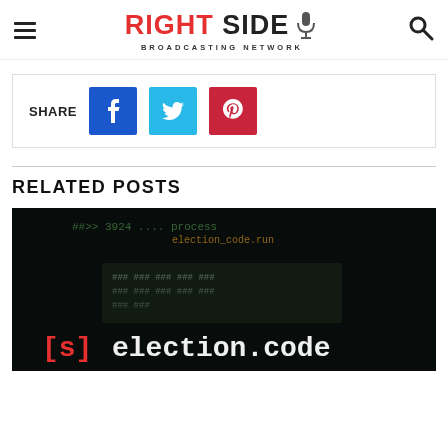RIGHT SIDE BROADCASTING NETWORK
SHARE
[Figure (screenshot): Dark screenshot showing blurry computer code screen with text '[s]election.code' displayed in glowing letters at the bottom]
RELATED POSTS